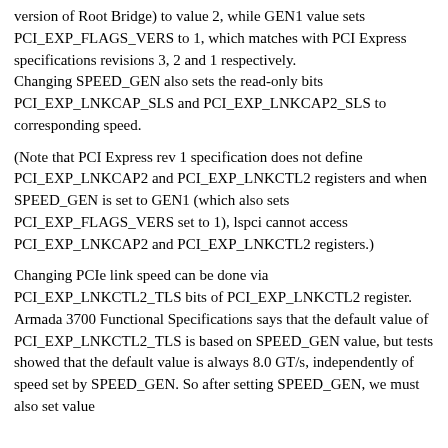version of Root Bridge) to value 2, while GEN1 value sets PCI_EXP_FLAGS_VERS to 1, which matches with PCI Express specifications revisions 3, 2 and 1 respectively. Changing SPEED_GEN also sets the read-only bits PCI_EXP_LNKCAP_SLS and PCI_EXP_LNKCAP2_SLS to corresponding speed.
(Note that PCI Express rev 1 specification does not define PCI_EXP_LNKCAP2 and PCI_EXP_LNKCTL2 registers and when SPEED_GEN is set to GEN1 (which also sets PCI_EXP_FLAGS_VERS set to 1), lspci cannot access PCI_EXP_LNKCAP2 and PCI_EXP_LNKCTL2 registers.)
Changing PCIe link speed can be done via PCI_EXP_LNKCTL2_TLS bits of PCI_EXP_LNKCTL2 register. Armada 3700 Functional Specifications says that the default value of PCI_EXP_LNKCTL2_TLS is based on SPEED_GEN value, but tests showed that the default value is always 8.0 GT/s, independently of speed set by SPEED_GEN. So after setting SPEED_GEN, we must also set value